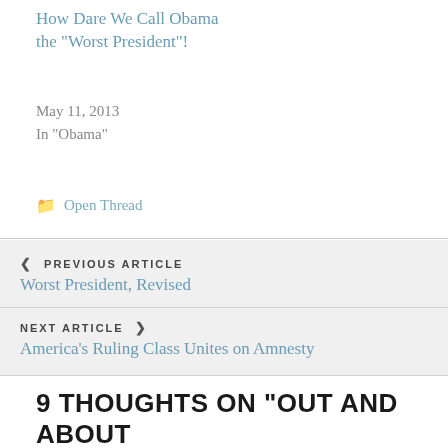How Dare We Call Obama the “Worst President”!
May 11, 2013
In "Obama"
📂 Open Thread
❮ PREVIOUS ARTICLE
Worst President, Revised
NEXT ARTICLE ❯
America’s Ruling Class Unites on Amnesty
9 THOUGHTS ON “OUT AND ABOUT ON A SUNDAY”